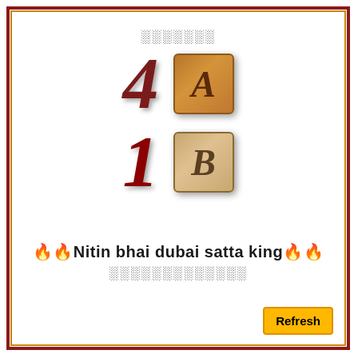🀱🀱🀱🀱🀱🀱🀱
[Figure (other): Large stylized number 4 in dark red italic with tile showing letter A in brown]
[Figure (other): Large stylized number 1 in dark red italic with tile showing letter B in tan/beige]
🔥🔥Nitin bhai dubai satta king🔥🔥
🀱🀱🀱🀱🀱🀱🀱🀱🀱🀱🀱🀱
Refresh